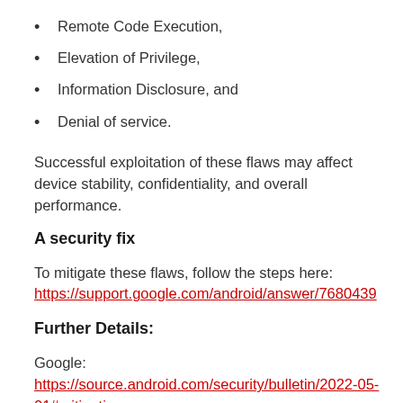Remote Code Execution,
Elevation of Privilege,
Information Disclosure, and
Denial of service.
Successful exploitation of these flaws may affect device stability, confidentiality, and overall performance.
A security fix
To mitigate these flaws, follow the steps here: https://support.google.com/android/answer/7680439
Further Details:
Google: https://source.android.com/security/bulletin/2022-05-01#mitigations